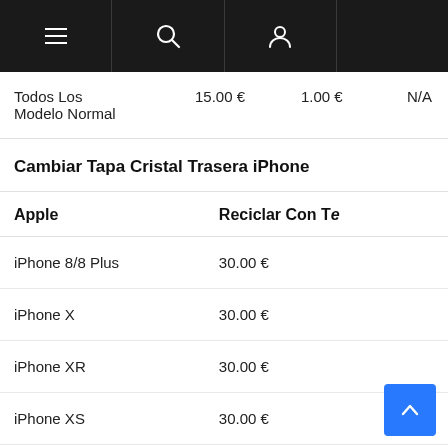Navigation bar with menu, search, and user icons
| Model | Price 1 | Price 2 | Info |
| --- | --- | --- | --- |
| Todos Los Modelo Normal | 15.00 € | 1.00 € | N/A |
Cambiar Tapa Cristal Trasera iPhone
| Apple | Reciclar Con Te |
| --- | --- |
| iPhone 8/8 Plus | 30.00 € |
| iPhone X | 30.00 € |
| iPhone XR | 30.00 € |
| iPhone XS | 30.00 € |
| iPhone Xs Max | 40.00 € |
| iP 11 | 50.00 € |